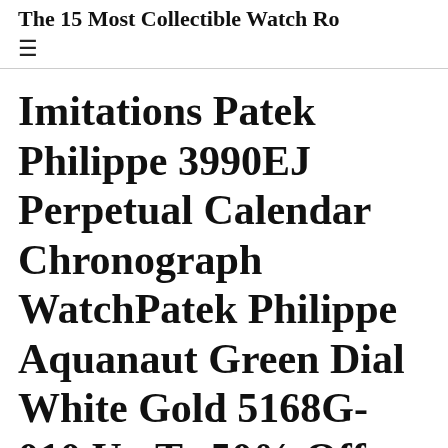The 15 Most Collectible Watch Ro...
≡ (hamburger menu)
Imitations Patek Philippe 3990EJ Perpetual Calendar Chronograph WatchPatek Philippe Aquanaut Green Dial White Gold 5168G-010 Up To 50% Off
Posted on January 16, 2022 by admin